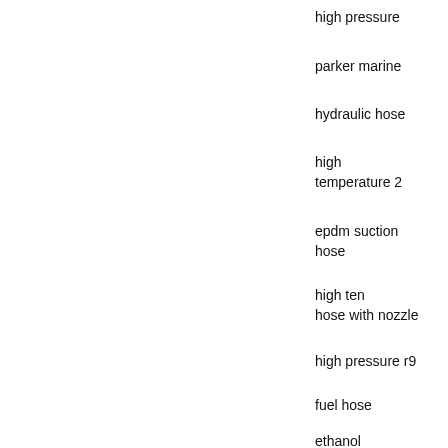high pressure
parker marine
hydraulic hose
high temperature 2
epdm suction hose
high ten hose with nozzle
high pressure r9
fuel hose
ethanol
high strength braided hose 6mm
high tensile flat discharge hose 3
high